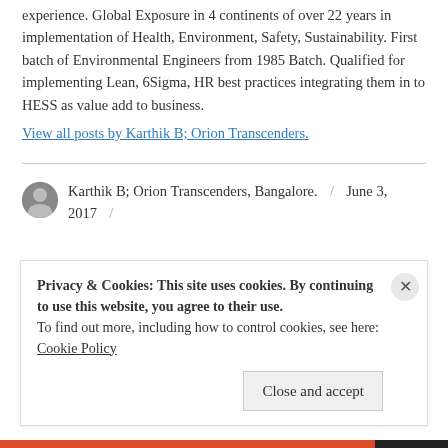experience. Global Exposure in 4 continents of over 22 years in implementation of Health, Environment, Safety, Sustainability. First batch of Environmental Engineers from 1985 Batch. Qualified for implementing Lean, 6Sigma, HR best practices integrating them in to HESS as value add to business.
View all posts by Karthik B; Orion Transcenders.
Karthik B; Orion Transcenders, Bangalore.  /  June 3, 2017  /
Privacy & Cookies: This site uses cookies. By continuing to use this website, you agree to their use.
To find out more, including how to control cookies, see here:
Cookie Policy